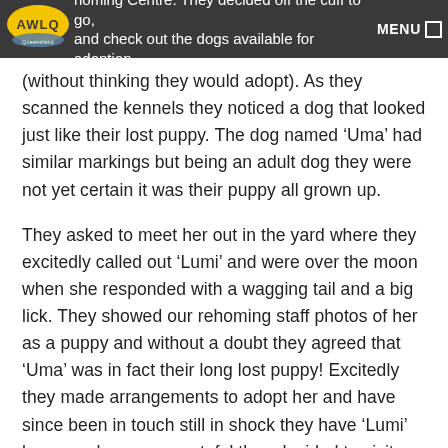homing Centre. They decided off the cuff to go, and check out the dogs available for adoption,
(without thinking they would adopt). As they scanned the kennels they noticed a dog that looked just like their lost puppy. The dog named ‘Uma’ had similar markings but being an adult dog they were not yet certain it was their puppy all grown up.
They asked to meet her out in the yard where they excitedly called out ‘Lumi’ and were over the moon when she responded with a wagging tail and a big lick. They showed our rehoming staff photos of her as a puppy and without a doubt they agreed that ‘Uma’ was in fact their long lost puppy! Excitedly they made arrangements to adopt her and have since been in touch still in shock they have ‘Lumi’ home and are very grateful they decided to visit